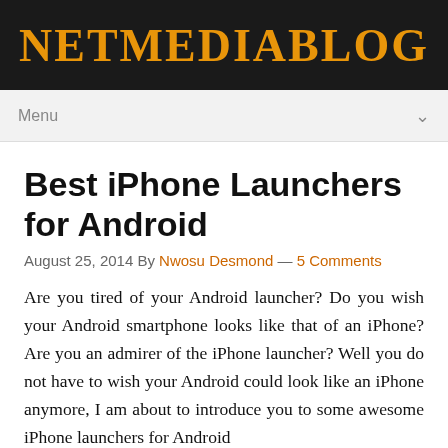NETMEDIABLOG
Best iPhone Launchers for Android
August 25, 2014 By Nwosu Desmond — 5 Comments
Are you tired of your Android launcher? Do you wish your Android smartphone looks like that of an iPhone? Are you an admirer of the iPhone launcher? Well you do not have to wish your Android could look like an iPhone anymore, I am about to introduce you to some awesome iPhone launchers for Android